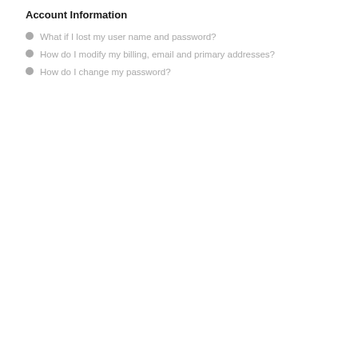Account Information
What if I lost my user name and password?
How do I modify my billing, email and primary addresses?
How do I change my password?